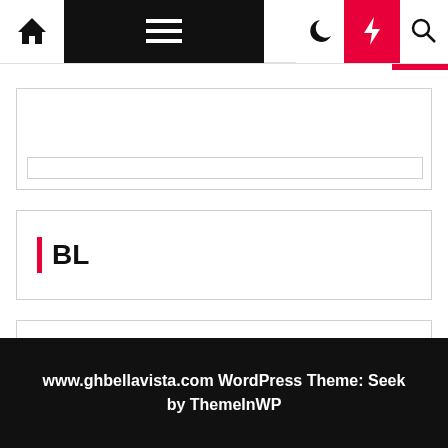[Figure (screenshot): Website navigation bar with home icon, hamburger menu (black background), moon icon, red lightning bolt button, and search icon]
[Figure (screenshot): Advertisement placeholder widget box with inner bar]
BL
TL
www.ghbellavista.com WordPress Theme: Seek by ThemeInWP